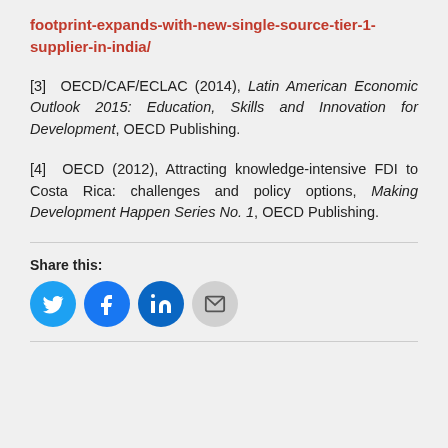footprint-expands-with-new-single-source-tier-1-supplier-in-india/
[3] OECD/CAF/ECLAC (2014), Latin American Economic Outlook 2015: Education, Skills and Innovation for Development, OECD Publishing.
[4] OECD (2012), Attracting knowledge-intensive FDI to Costa Rica: challenges and policy options, Making Development Happen Series No. 1, OECD Publishing.
Share this:
[Figure (other): Social media share buttons: Twitter (blue bird icon), Facebook (blue f icon), LinkedIn (blue in icon), Email (grey envelope icon)]